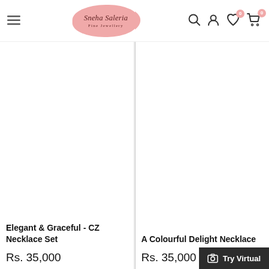[Figure (screenshot): Navigation bar with hamburger menu, Sneha Salaria Fine Jewellery logo in pink blob shape, and icons for search, account, wishlist (0), and cart (0)]
Elegant & Graceful - CZ Necklace Set
Rs. 35,000
A Colourful Delight Necklace
Rs. 35,000
Try Virtual